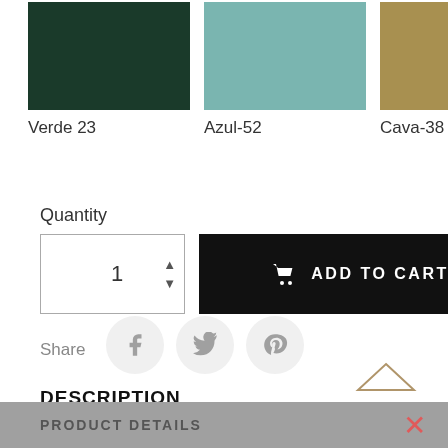[Figure (illustration): Three fabric color swatches: dark green (Verde 23), muted teal/blue (Azul-52), and tan/khaki (Cava-38)]
Verde 23   Azul-52   Cava-38
Quantity
[Figure (illustration): Quantity input box showing '1' with up/down arrows, and a black 'ADD TO CART' button with shopping cart icon]
Share
[Figure (illustration): Social share buttons: Facebook, Twitter, Pinterest icons in light gray circles]
DESCRIPTION
PRODUCT DETAILS
[Figure (logo): Ff script logo with house/roof icon above]